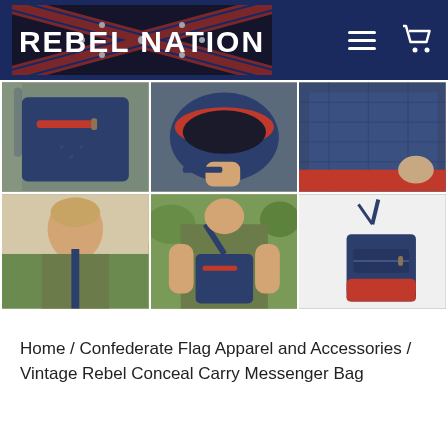[Figure (screenshot): Rebel Nation website header with confederate flag logo banner, hamburger menu icon, and shopping cart icon on dark navy background]
[Figure (photo): Product gallery showing 6 photos of a navy/red Vintage Rebel Conceal Carry Messenger Bag — close-ups of zipper pocket, open interior, leather detail, woman wearing strap, woman holding bag, and product shot on white background]
Home / Confederate Flag Apparel and Accessories / Vintage Rebel Conceal Carry Messenger Bag